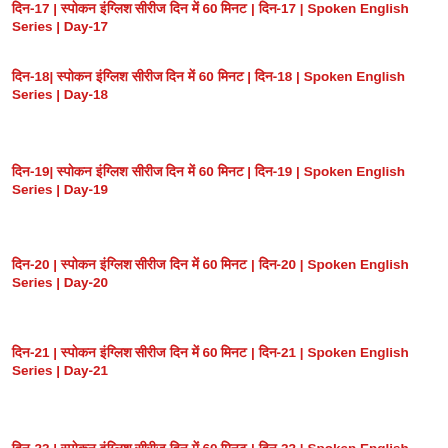दिन-17 | स्पोकन इंग्लिश सीरीज दिन में 60 मिनट | दिन-17 | Spoken English Series | Day-17
दिन-18| स्पोकन इंग्लिश सीरीज दिन में 60 मिनट | दिन-18 | Spoken English Series | Day-18
दिन-19| स्पोकन इंग्लिश सीरीज दिन में 60 मिनट | दिन-19 | Spoken English Series | Day-19
दिन-20 | स्पोकन इंग्लिश सीरीज दिन में 60 मिनट | दिन-20 | Spoken English Series | Day-20
दिन-21 | स्पोकन इंग्लिश सीरीज दिन में 60 मिनट | दिन-21 | Spoken English Series | Day-21
दिन-22 | स्पोकन इंग्लिश सीरीज दिन में 60 मिनट | दिन-22 | Spoken English Series | Day-22